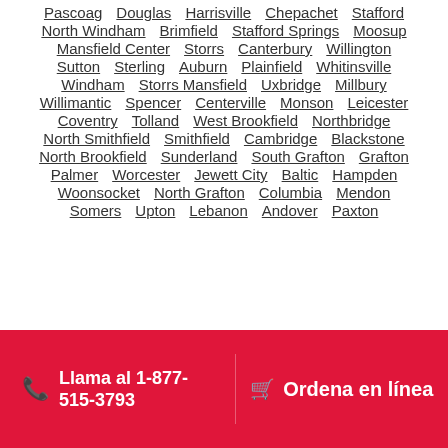Pascoag
Douglas
Harrisville
Chepachet
Stafford
North Windham
Brimfield
Stafford Springs
Moosup
Mansfield Center
Storrs
Canterbury
Willington
Sutton
Sterling
Auburn
Plainfield
Whitinsville
Windham
Storrs Mansfield
Uxbridge
Millbury
Willimantic
Spencer
Centerville
Monson
Leicester
Coventry
Tolland
West Brookfield
Northbridge
North Smithfield
Smithfield
Cambridge
Blackstone
North Brookfield
Sunderland
South Grafton
Grafton
Palmer
Worcester
Jewett City
Baltic
Hampden
Woonsocket
North Grafton
Columbia
Mendon
Somers
Upton
Lebanon
Andover
Paxton
Llama al 1-877-515-3793   Ordena en línea